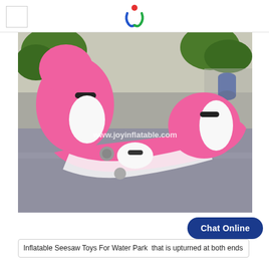www.joyinflatable.com logo header
[Figure (photo): Pink and white inflatable seesaw toy shaped like a cartoon character, photographed outdoors on a concrete/tarp surface. The toy has pink and white striped sections with cartoon eyes. Watermark text reads www.joyinflatable.com]
Chat Online
Inflatable Seesaw Toys For Water Park  that is upturned at both ends